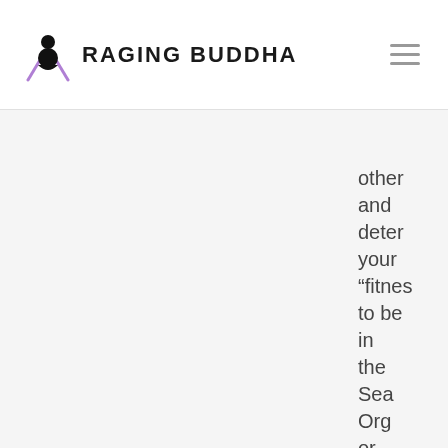Raging Buddha
other and deter your "fitness to be in the Sea Org or not. It is also the comm that you